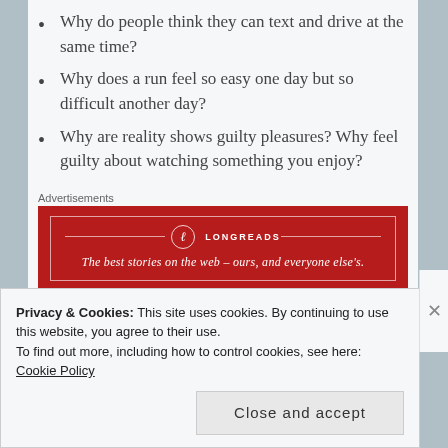Why do people think they can text and drive at the same time?
Why does a run feel so easy one day but so difficult another day?
Why are reality shows guilty pleasures? Why feel guilty about watching something you enjoy?
Advertisements
[Figure (other): Longreads advertisement banner: red background with logo and tagline 'The best stories on the web – ours, and everyone else's.']
If you're not scared by this peek inside my running mind, check back in coming weeks for more.
Privacy & Cookies: This site uses cookies. By continuing to use this website, you agree to their use.
To find out more, including how to control cookies, see here: Cookie Policy

Close and accept